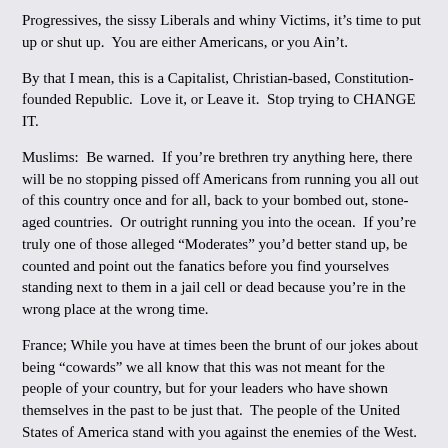Progressives, the sissy Liberals and whiny Victims, it’s time to put up or shut up.  You are either Americans, or you Ain’t.
By that I mean, this is a Capitalist, Christian-based, Constitution-founded Republic.  Love it, or Leave it.  Stop trying to CHANGE IT.
Muslims:  Be warned.  If you’re brethren try anything here, there will be no stopping pissed off Americans from running you all out of this country once and for all, back to your bombed out, stone-aged countries.  Or outright running you into the ocean.  If you’re truly one of those alleged “Moderates” you’d better stand up, be counted and point out the fanatics before you find yourselves standing next to them in a jail cell or dead because you’re in the wrong place at the wrong time.
France; While you have at times been the brunt of our jokes about being “cowards” we all know that this was not meant for the people of your country, but for your leaders who have shown themselves in the past to be just that.  The people of the United States of America stand with you against the enemies of the West.
Western Civilization is being threatened at its very core right now by Islam